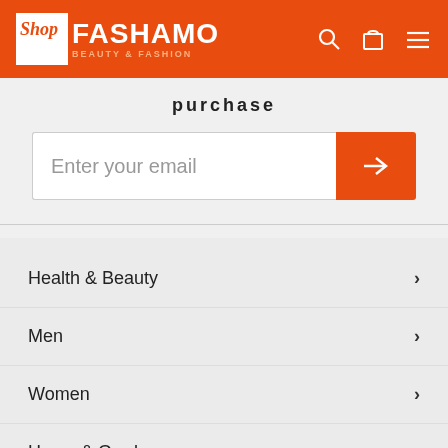Shop FASHAMO BEAUTY & FASHION
purchase
Enter your email
Health & Beauty
Men
Women
Home & Garden